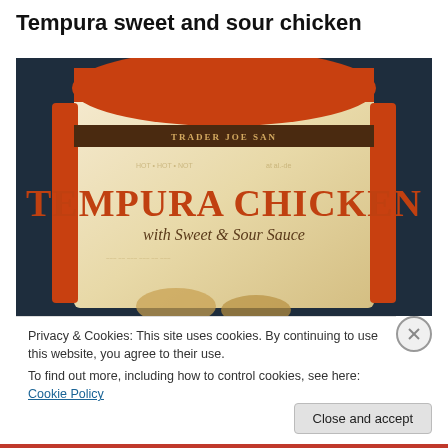Tempura sweet and sour chicken
[Figure (photo): Photograph of a Trader Joe San Tempura Chicken with Sweet & Sour Sauce frozen food bag against a dark blue background. The package is cream/yellow colored with an orange top flap and orange side edges. A brown banner reads 'TRADER JOE SAN'. Large red text on the package reads 'TEMPURA CHICKEN' with cursive subtitle 'with Sweet & Sour Sauce'.]
Privacy & Cookies: This site uses cookies. By continuing to use this website, you agree to their use.
To find out more, including how to control cookies, see here: Cookie Policy
Close and accept